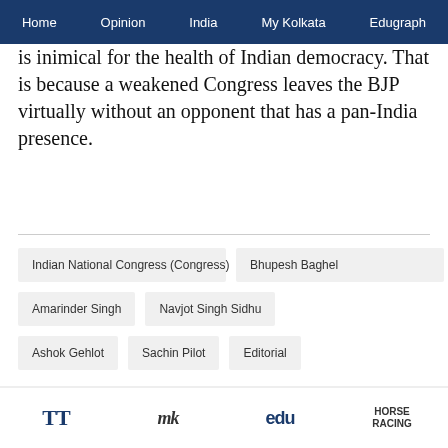Home | Opinion | India | My Kolkata | Edugraph
is inimical for the health of Indian democracy. That is because a weakened Congress leaves the BJP virtually without an opponent that has a pan-India presence.
Indian National Congress (Congress)
Bhupesh Baghel
Amarinder Singh
Navjot Singh Sidhu
Ashok Gehlot
Sachin Pilot
Editorial
Advertisement
TT | My | edu | HORSE RACING